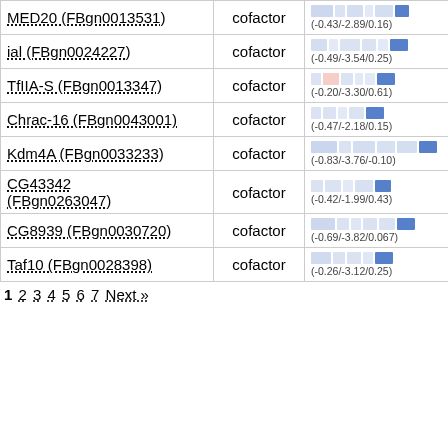| Gene | Type | Data |
| --- | --- | --- |
| MED20 (FBgn0013531) | cofactor | (-0.43/-2.89/0.16) |
| ial (FBgn0024227) | cofactor | (-0.49/-3.54/0.25) |
| TfIIA-S (FBgn0013347) | cofactor | (-0.20/-3.30/0.61) |
| Chrac-16 (FBgn0043001) | cofactor | (-0.47/-2.18/0.15) |
| Kdm4A (FBgn0033233) | cofactor | (-0.83/-3.76/-0.10) |
| CG43342 (FBgn0263047) | cofactor | (-0.42/-1.99/0.43) |
| CG8939 (FBgn0030720) | cofactor | (-0.69/-3.82/0.067) |
| Taf10 (FBgn0028398) | cofactor | (-0.26/-3.12/0.25) |
1 2 3 4 5 6 7 Next »